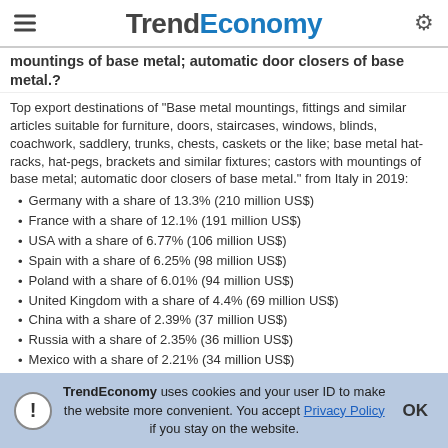TrendEconomy
mountings of base metal; automatic door closers of base metal.?
Top export destinations of "Base metal mountings, fittings and similar articles suitable for furniture, doors, staircases, windows, blinds, coachwork, saddlery, trunks, chests, caskets or the like; base metal hat-racks, hat-pegs, brackets and similar fixtures; castors with mountings of base metal; automatic door closers of base metal." from Italy in 2019:
Germany with a share of 13.3% (210 million US$)
France with a share of 12.1% (191 million US$)
USA with a share of 6.77% (106 million US$)
Spain with a share of 6.25% (98 million US$)
Poland with a share of 6.01% (94 million US$)
United Kingdom with a share of 4.4% (69 million US$)
China with a share of 2.39% (37 million US$)
Russia with a share of 2.35% (36 million US$)
Mexico with a share of 2.21% (34 million US$)
Belgium with a share of 2.14% (33 million US$)
TrendEconomy uses cookies and your user ID to make the website more convenient. You accept Privacy Policy if you stay on the website.